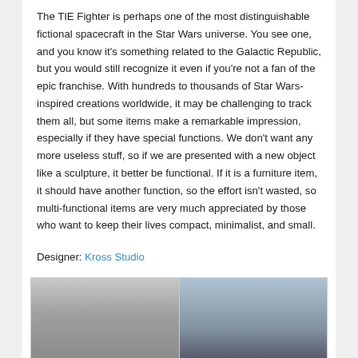The TIE Fighter is perhaps one of the most distinguishable fictional spacecraft in the Star Wars universe. You see one, and you know it's something related to the Galactic Republic, but you would still recognize it even if you're not a fan of the epic franchise. With hundreds to thousands of Star Wars-inspired creations worldwide, it may be challenging to track them all, but some items make a remarkable impression, especially if they have special functions. We don't want any more useless stuff, so if we are presented with a new object like a sculpture, it better be functional. If it is a furniture item, it should have another function, so the effort isn't wasted, so multi-functional items are very much appreciated by those who want to keep their lives compact, minimalist, and small.
Designer: Kross Studio
[Figure (photo): Two side-by-side photos showing Star Wars TIE Fighter inspired design objects or furniture pieces by Kross Studio]